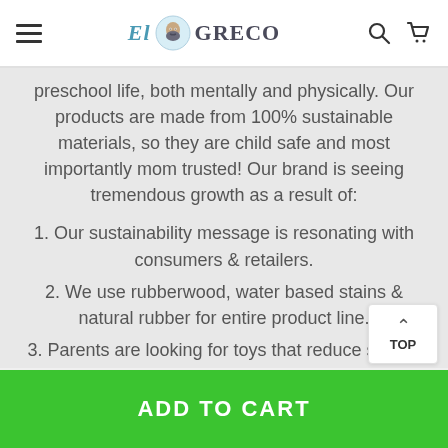El Greco
preschool life, both mentally and physically. Our products are made from 100% sustainable materials, so they are child safe and most importantly mom trusted! Our brand is seeing tremendous growth as a result of:
1. Our sustainability message is resonating with consumers & retailers.
2. We use rubberwood, water based stains & natural rubber for entire product line.
3. Parents are looking for toys that reduce screen time for their children.
4. The revolt against plastic is very real & parent looking brands not using plastic.
ADD TO CART